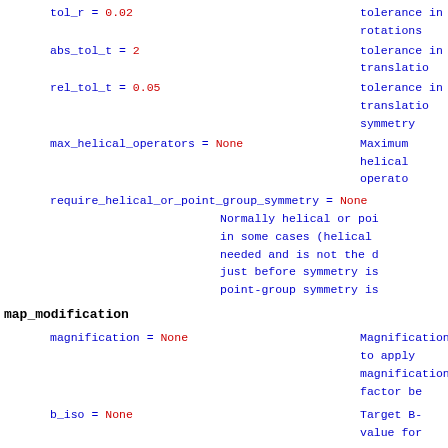tol_r = 0.02    tolerance in rotations
abs_tol_t = 2    tolerance in translations
rel_tol_t = 0.05    tolerance in translations symmetry
max_helical_operators = None    Maximum helical operators
require_helical_or_point_group_symmetry = None    Normally helical or point group symmetry is needed...
map_modification
magnification = None    Magnification to apply magnification factor be
b_iso = None    Target B-value for map of b_iso)
b_sharpen = None    Sharpen with this b-value of b_iso
b_blur_hires = 200    Blur high_resolution data. Contrast with b_sharpen. If None and b_sharpen is data is left as is (not (blurring) high-resolution
resolution_dependent_b_sharpen = None    If set, apply resolution Log10(amplitudes) will specified, changing lines change to b2 at high-re